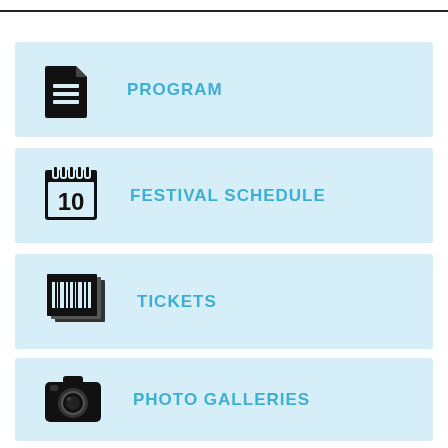PROGRAM
FESTIVAL SCHEDULE
TICKETS
PHOTO GALLERIES
VIDEO CHRONICLES